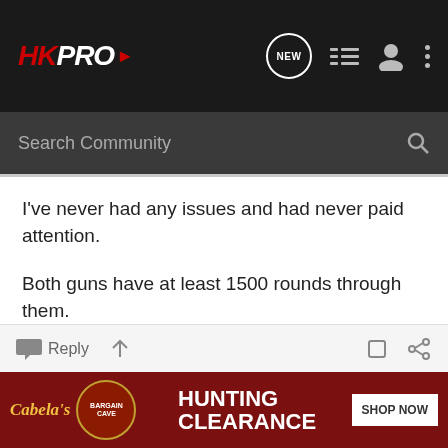HKPRO — Search Community
I've never had any issues and had never paid attention.
Both guns have at least 1500 rounds through them.
I'm not worried about it.
Sent from my iPhone using Tapatalk
[Figure (screenshot): Cabela's Bargain Cave Hunting Clearance advertisement banner with SHOP NOW button]